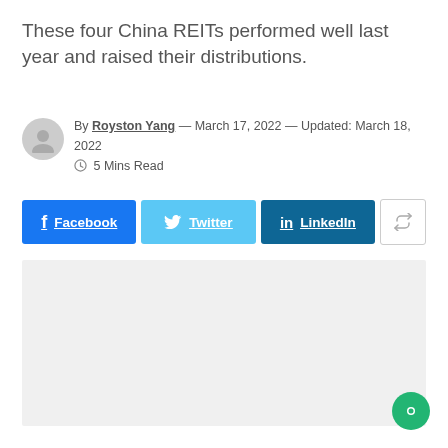These four China REITs performed well last year and raised their distributions.
By Royston Yang — March 17, 2022 — Updated: March 18, 2022   5 Mins Read
[Figure (infographic): Social share buttons: Facebook, Twitter, LinkedIn, and a generic share button]
[Figure (photo): Large image placeholder area (light gray background)]